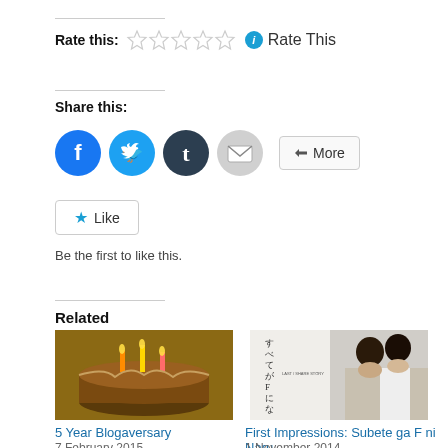Rate this: ☆☆☆☆☆ ℹ Rate This
Share this:
[Figure (infographic): Social share buttons: Facebook (blue circle), Twitter (light blue circle), Tumblr (dark circle), Email (grey circle), and a More button]
[Figure (infographic): Like button with star icon]
Be the first to like this.
Related
[Figure (photo): Chocolate birthday cake with candles]
5 Year Blogaversary
7 February 2015
In "Site News"
[Figure (photo): Japanese drama couple close together, text reads すべてがFになる]
First Impressions: Subete ga F ni Naru
1 November 2014